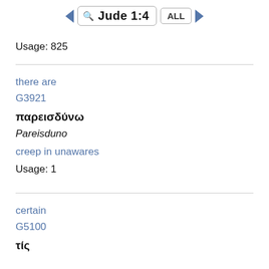Jude 1:4
Usage: 825
there are
G3921
παρεισδύνω
Pareisduno
creep in unawares
Usage: 1
certain
G5100
τίς